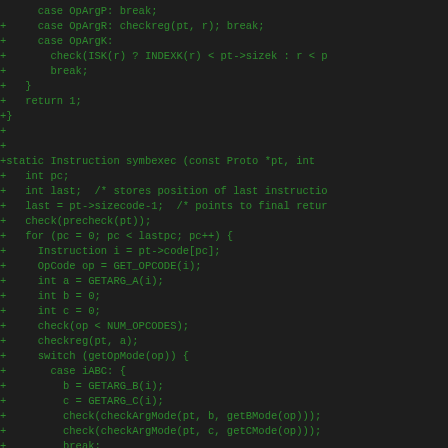[Figure (screenshot): Code diff snippet in dark theme showing C source code additions (green + lines) for a Lua interpreter function symbexec, including switch cases for OpArgR/OpArgK, a static function definition, variable declarations, and a for loop with instruction checking logic.]